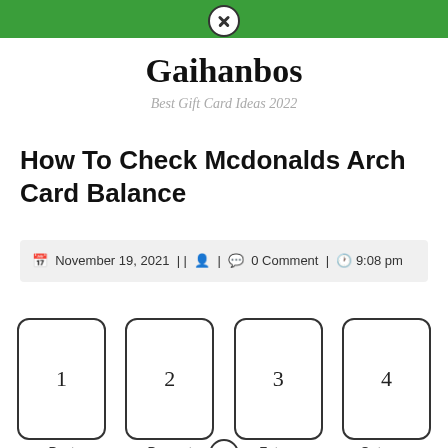Gaihanbos
Best Gift Card Ideas 2022
How To Check Mcdonalds Arch Card Balance
November 19, 2021 | | | 0 Comment | 9:08 pm
[Figure (illustration): Four tarot/playing cards labeled 1, 2, 3, 4 with labels Past, Present, Future, Outcome below them]